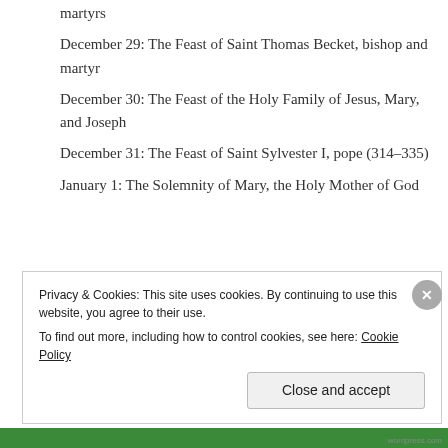December 28: The Feast of the Holy Innocents, martyrs
December 29: The Feast of Saint Thomas Becket, bishop and martyr
December 30: The Feast of the Holy Family of Jesus, Mary, and Joseph
December 31: The Feast of Saint Sylvester I, pope (314–335)
January 1: The Solemnity of Mary, the Holy Mother of God
Privacy & Cookies: This site uses cookies. By continuing to use this website, you agree to their use. To find out more, including how to control cookies, see here: Cookie Policy
Close and accept